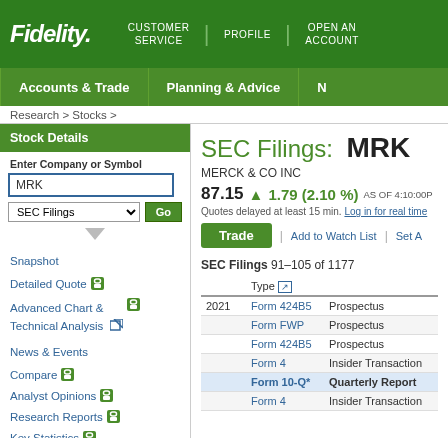Fidelity | CUSTOMER SERVICE | PROFILE | OPEN AN ACCOUNT
Accounts & Trade | Planning & Advice | N
Research > Stocks >
Stock Details
Enter Company or Symbol
SEC Filings: MRK
MERCK & CO INC
87.15 ▲ 1.79 (2.10 %) AS OF 4:10:00
Quotes delayed at least 15 min. Log in for real time
Trade | Add to Watch List | Set A
SEC Filings 91–105 of 1177
|  | Type |  |
| --- | --- | --- |
| 2021 | Form 424B5 | Prospectus |
|  | Form FWP | Prospectus |
|  | Form 424B5 | Prospectus |
|  | Form 4 | Insider Transaction |
|  | Form 10-Q* | Quarterly Report |
|  | Form 4 | Insider Transaction |
Snapshot
Detailed Quote 🔒
Advanced Chart & Technical Analysis 🔒
News & Events
Compare 🔒
Analyst Opinions 🔒
Research Reports 🔒
Key Statistics 🔒
Earnings 🔒